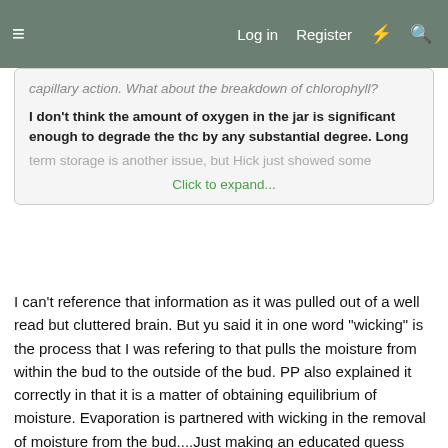≡   Log in   Register   ⚡   🔍
capillary action. What about the breakdown of chlorophyll?
I don't think the amount of oxygen in the jar is significant enough to degrade the thc by any substantial degree. Long term storage is another issue, but Hick just showed some
Click to expand...
I can't reference that information as it was pulled out of a well read but cluttered brain. But yu said it in one word "wicking" is the process that I was refering to that pulls the moisture from within the bud to the outside of the bud. PP also explained it correctly in that it is a matter of obtaining equilibrium of moisture. Evaporation is partnered with wicking in the removal of moisture from the bud....Just making an educated guess here but I would think that the breakdown of chlorophyll occurs with the drying process and possibly a certain amount of interaction with oxygen or hydrogen as those 2 are present and are the most common catalysts for chemical breakdown in the